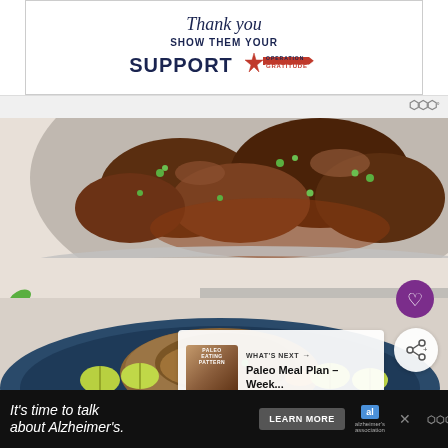[Figure (illustration): Advertisement banner: 'Thank you - Show them your Support - Operation Gratitude' with star logo and patriotic styling]
[Figure (photo): Food photography showing braised meat with green onion garnish in a metal pan (top), and a blue plate with a meat dish and lime wedge slices (bottom)]
[Figure (screenshot): What's Next panel showing 'Paleo Meal Plan - Week...' with thumbnail image]
[Figure (illustration): Bottom advertisement: 'It's time to talk about Alzheimer's.' with Learn More button and Alzheimer's Association logo]